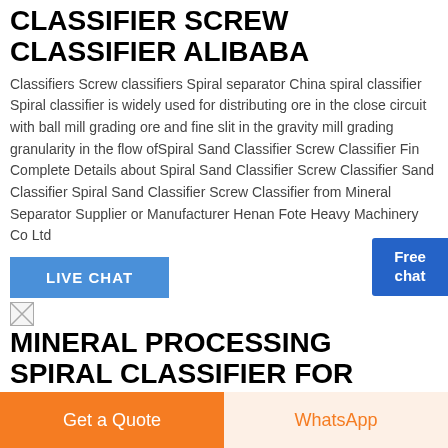CLASSIFIER SCREW CLASSIFIER ALIBABA
Classifiers Screw classifiers Spiral separator China spiral classifier Spiral classifier is widely used for distributing ore in the close circuit with ball mill grading ore and fine slit in the gravity mill grading granularity in the flow ofSpiral Sand Classifier Screw Classifier Find Complete Details about Spiral Sand Classifier Screw Classifier Sand Classifier Spiral Sand Classifier Screw Classifier from Mineral Separator Supplier or Manufacturer Henan Fote Heavy Machinery Co Ltd
LIVE CHAT
[Figure (other): Broken image icon]
MINERAL PROCESSING SPIRAL CLASSIFIER FOR
Get a Quote
WhatsApp